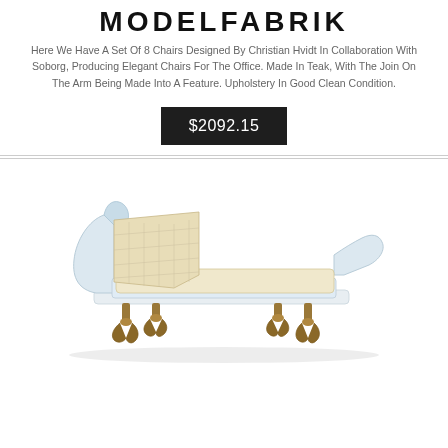MODELFABRIK
Here We Have A Set Of 8 Chairs Designed By Christian Hvidt In Collaboration With Soborg, Producing Elegant Chairs For The Office. Made In Teak, With The Join On The Arm Being Made Into A Feature. Upholstery In Good Clean Condition.
$2092.15
[Figure (photo): A white painted wooden daybed/chaise longue with cream/beige upholstery and ornate dark gold/bronze claw feet, photographed on a white background.]